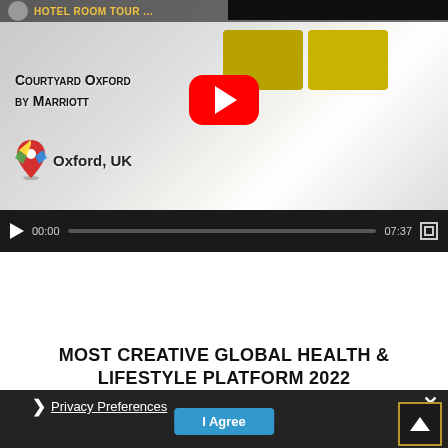[Figure (screenshot): YouTube video player showing a hotel room at Courtyard Oxford by Marriott. The thumbnail shows text 'Courtyard Oxford by Marriott', a Google Maps pin with 'Oxford, UK', and a YouTube play button overlay. Video controls show 00:00 / 07:37.]
Latest Award
MOST CREATIVE GLOBAL HEALTH & LIFESTYLE PLATFORM 2022
Privacy Preferences
I Agree